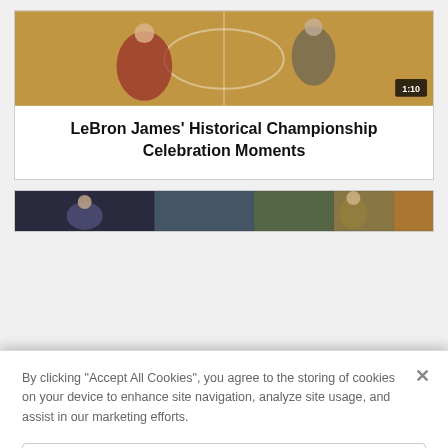[Figure (photo): Basketball game photo showing LeBron James celebrating, with a video duration overlay showing 1:10]
LeBron James' Historical Championship Celebration Moments
[Figure (photo): Partially visible basketball photo in second card, obscured by cookie consent overlay]
By clicking “Accept All Cookies”, you agree to the storing of cookies on your device to enhance site navigation, analyze site usage, and assist in our marketing efforts.
Cookies Settings
Reject All
Accept All Cookies